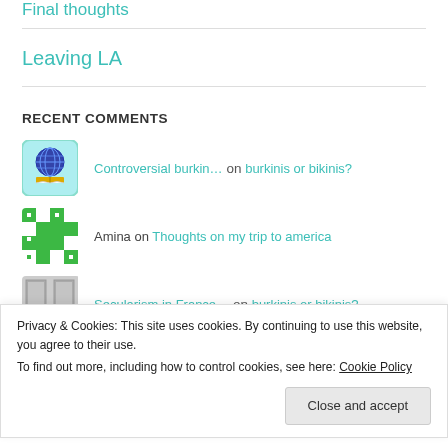Final Thoughts
Leaving LA
RECENT COMMENTS
Controversial burkin… on burkinis or bikinis?
Amina on Thoughts on my trip to america
Secularism in France… on burkinis or bikinis?
Privacy & Cookies: This site uses cookies. By continuing to use this website, you agree to their use.
To find out more, including how to control cookies, see here: Cookie Policy
Close and accept